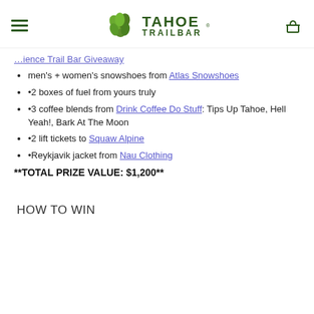[Figure (logo): Tahoe Trail Bar logo with green leaf/hop icon and dark green bold text 'TAHOE TRAILBAR']
…science Trail Bar Giveaway (partial link, truncated)
men's + women's snowshoes from Atlas Snowshoes
•2 boxes of fuel from yours truly
•3 coffee blends from Drink Coffee Do Stuff: Tips Up Tahoe, Hell Yeah!, Bark At The Moon
•2 lift tickets to Squaw Alpine
•Reykjavik jacket from Nau Clothing
**TOTAL PRIZE VALUE: $1,200**
HOW TO WIN